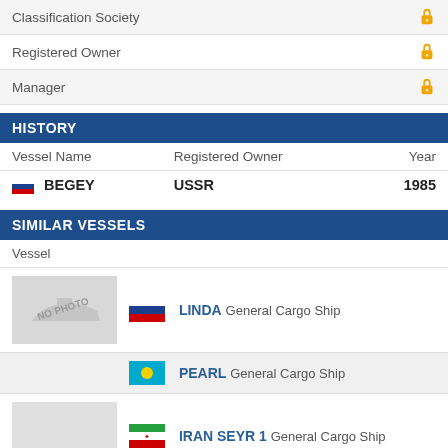| Classification Society |  |  |
| --- | --- | --- |
| Classification Society | 🔒 |  |
| Registered Owner | 🔒 |  |
| Manager | 🔒 |  |
HISTORY
| Vessel Name | Registered Owner | Year |
| --- | --- | --- |
| BEGEY | USSR | 1985 |
SIMILAR VESSELS
Vessel
[Figure (other): No photo placeholder for vessel LINDA]
LINDA - General Cargo Ship (Russian flag)
PEARL - General Cargo Ship (Palau flag)
[Figure (other): No photo placeholder for vessel IRAN SEYR 1]
IRAN SEYR 1 - General Cargo Ship (Iran flag)